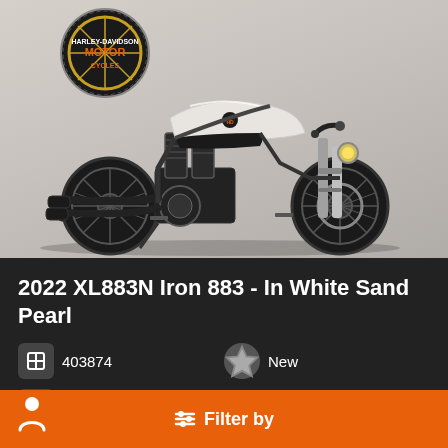[Figure (photo): 2022 Harley-Davidson XL883N Iron 883 motorcycle in White Sand Pearl color, shown in a dealer showroom. Harley-Davidson dealer logo visible in upper left background.]
2022 XL883N Iron 883 - In White Sand Pearl
403874
New
2022
Filter by
Text Us!